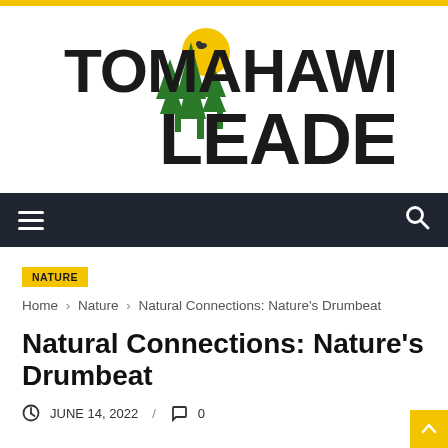[Figure (logo): Tomahawk Leader newspaper logo with green pine trees and yellow moon graphic, bold black text reading TOMAHAWK LEADER]
Navigation bar with hamburger menu and search icon
NATURE
Home › Nature › Natural Connections: Nature's Drumbeat
Natural Connections: Nature's Drumbeat
JUNE 14, 2022 / 0